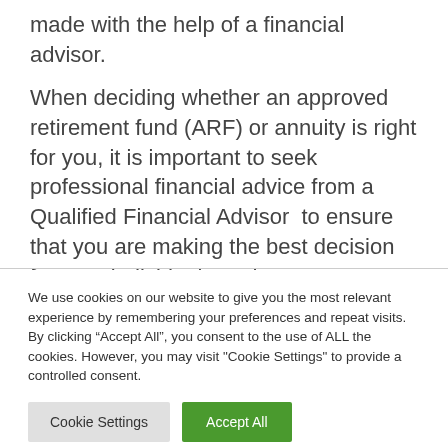made with the help of a financial advisor.
When deciding whether an approved retirement fund (ARF) or annuity is right for you, it is important to seek professional financial advice from a Qualified Financial Advisor  to ensure that you are making the best decision for your individual needs.
We use cookies on our website to give you the most relevant experience by remembering your preferences and repeat visits. By clicking “Accept All”, you consent to the use of ALL the cookies. However, you may visit "Cookie Settings" to provide a controlled consent.